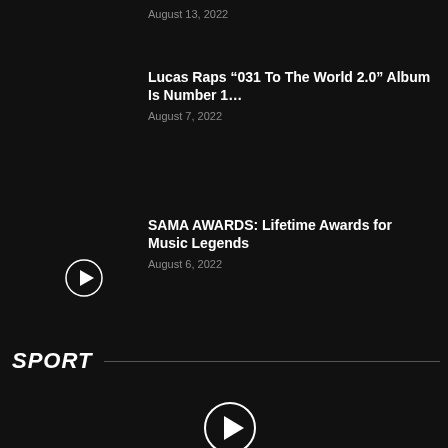August 13, 2022
Lucas Raps “031 To The World 2.0” Album Is Number 1…
August 7, 2022
SAMA AWARDS: Lifetime Awards for Music Legends
August 6, 2022
SPORT